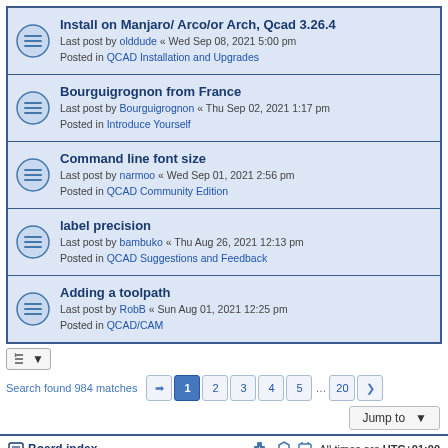Install on Manjaro/ Arco/or Arch, Qcad 3.26.4 — Last post by olddude « Wed Sep 08, 2021 5:00 pm — Posted in QCAD Installation and Upgrades
Bourguigrognon from France — Last post by Bourguigrognon « Thu Sep 02, 2021 1:17 pm — Posted in Introduce Yourself
Command line font size — Last post by narmoo « Wed Sep 01, 2021 2:56 pm — Posted in QCAD Community Edition
label precision — Last post by bambuko « Thu Aug 26, 2021 12:13 pm — Posted in QCAD Suggestions and Feedback
Adding a toolpath — Last post by RobB « Sun Aug 01, 2021 12:25 pm — Posted in QCAD/CAM
Search found 984 matches
Jump to
Board index — All times are UTC+01:00
Powered by phpBB® Forum Software © phpBB Limited
Time: 0.200s | Queries: 11 | Peak Memory Usage: 2.62 MiB